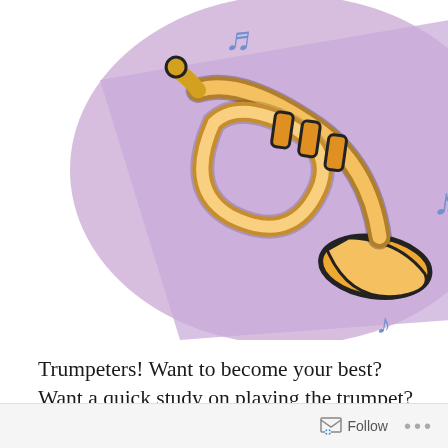[Figure (illustration): Colorful cartoon illustration of a trumpet with musical notes on a purple/lavender background, partially cropped at top]
Trumpeters! Want to become your best? Want a quick study on playing the trumpet? Feel like you’re stuck on something and just not getting any better at it, no matter what? Want to hear how advanced, professional trumpeters do things and what they’ve learned through their years of experience? Want to ask them a question about something?
Here’s your chance on Sunday, 29 January—attend the
Follow •••